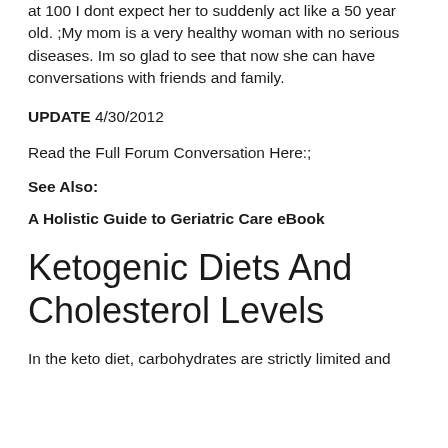at 100 I dont expect her to suddenly act like a 50 year old. ;My mom is a very healthy woman with no serious diseases. Im so glad to see that now she can have conversations with friends and family.
UPDATE 4/30/2012
Read the Full Forum Conversation Here:;
See Also:
A Holistic Guide to Geriatric Care eBook
Ketogenic Diets And Cholesterol Levels
In the keto diet, carbohydrates are strictly limited and